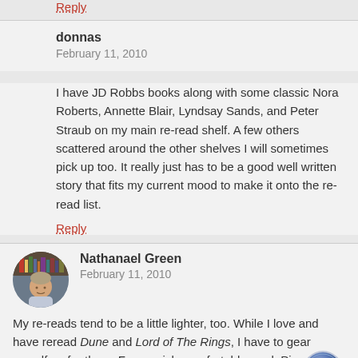Reply
donnas
February 11, 2010
I have JD Robbs books along with some classic Nora Roberts, Annette Blair, Lyndsay Sands, and Peter Straub on my main re-read shelf. A few others scattered around the other shelves I will sometimes pick up too. It really just has to be a good well written story that fits my current mood to make it onto the re-read list.
Reply
Nathanael Green
February 11, 2010
My re-reads tend to be a little lighter, too. While I love and have reread Dune and Lord of The Rings, I have to gear myself up for them. For a quick, comfortable read, Piers Anthony's Xanth books are a go-to for me.
Reply
[Figure (illustration): Scroll to top button - circular blue button with upward arrow]